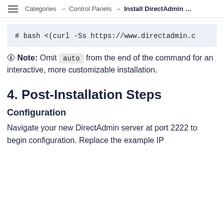Categories → Control Panels → Install DirectAdmin …
# bash <(curl -Ss https://www.directadmin.c
🛈 Note: Omit auto from the end of the command for an interactive, more customizable installation.
4. Post-Installation Steps
Configuration
Navigate your new DirectAdmin server at port 2222 to begin configuration. Replace the example IP